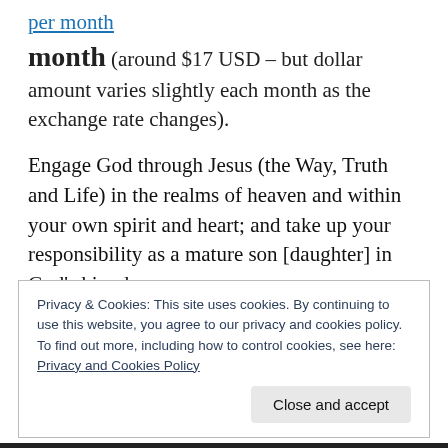[link] per month (around $17 USD – but dollar amount varies slightly each month as the exchange rate changes).
Engage God through Jesus (the Way, Truth and Life) in the realms of heaven and within your own spirit and heart; and take up your responsibility as a mature son [daughter] in God's kingdom.
Find out more and get started today*
*Technology permitting; automated process on completion
Privacy & Cookies: This site uses cookies. By continuing to use this website, you agree to our privacy and cookies policy. To find out more, including how to control cookies, see here: Privacy and Cookies Policy